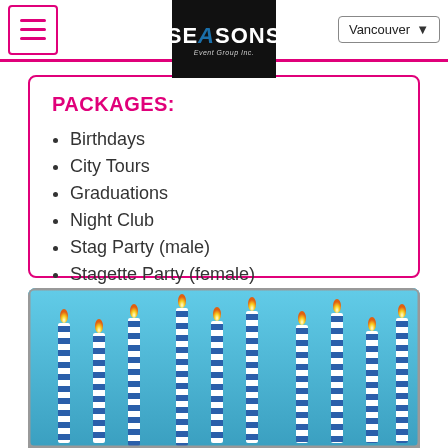Seasons Event Group Inc. — Vancouver
PACKAGES:
Birthdays
City Tours
Graduations
Night Club
Stag Party (male)
Stagette Party (female)
Weddings
Wine Tours
[Figure (photo): Birthday candles on a blue background, shown inside a tablet or screen frame]